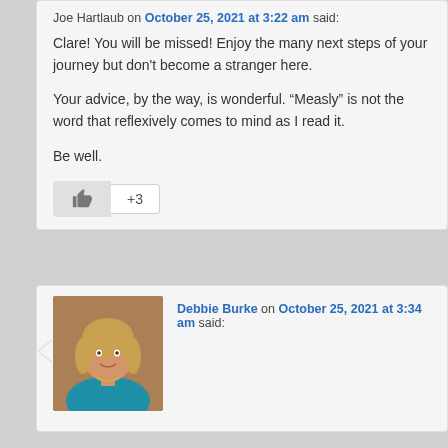Joe Hartlaub on October 25, 2021 at 3:22 am said:
Clare! You will be missed! Enjoy the many next steps of your journey but don't become a stranger here.

Your advice, by the way, is wonderful. “Measly” is not the word that reflexively comes to mind as I read it.

Be well.
[Figure (other): Like button with thumbs up icon and +3 count]
[Figure (photo): Profile photo of Debbie Burke, a woman with short blonde hair wearing a blue top]
Debbie Burke on October 25, 2021 at 3:34 am said: